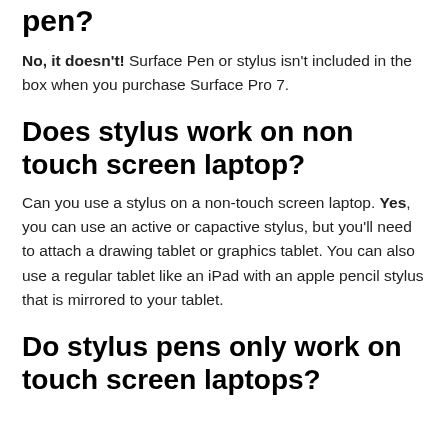pen?
No, it doesn't! Surface Pen or stylus isn't included in the box when you purchase Surface Pro 7.
Does stylus work on non touch screen laptop?
Can you use a stylus on a non-touch screen laptop. Yes, you can use an active or capactive stylus, but you'll need to attach a drawing tablet or graphics tablet. You can also use a regular tablet like an iPad with an apple pencil stylus that is mirrored to your tablet.
Do stylus pens only work on touch screen laptops?